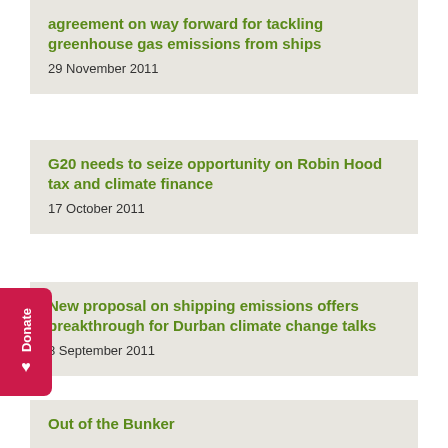agreement on way forward for tackling greenhouse gas emissions from ships
29 November 2011
G20 needs to seize opportunity on Robin Hood tax and climate finance
17 October 2011
New proposal on shipping emissions offers breakthrough for Durban climate change talks
8 September 2011
Out of the Bunker